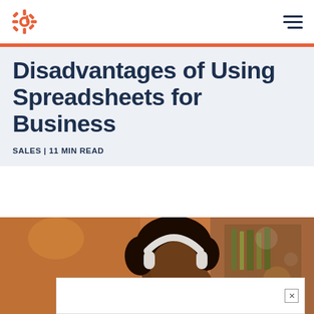HubSpot navigation bar with logo and hamburger menu
Disadvantages of Using Spreadsheets for Business
SALES | 11 MIN READ
[Figure (photo): Woman wearing white headphones and a yellow sweater, looking down at a laptop in a warmly lit cafe/office environment with bookshelves in the background.]